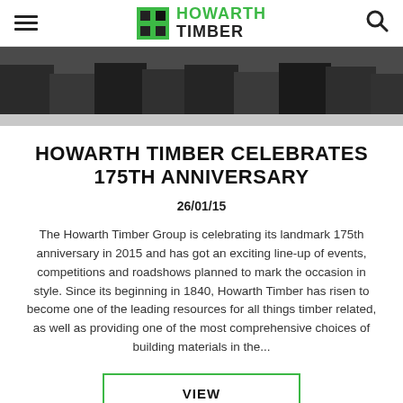Howarth Timber — navigation bar with hamburger menu and search icon
[Figure (photo): Hero image showing lower halves of several people standing in a group, wearing dark clothing, outdoors.]
HOWARTH TIMBER CELEBRATES 175TH ANNIVERSARY
26/01/15
The Howarth Timber Group is celebrating its landmark 175th anniversary in 2015 and has got an exciting line-up of events, competitions and roadshows planned to mark the occasion in style. Since its beginning in 1840, Howarth Timber has risen to become one of the leading resources for all things timber related, as well as providing one of the most comprehensive choices of building materials in the...
VIEW